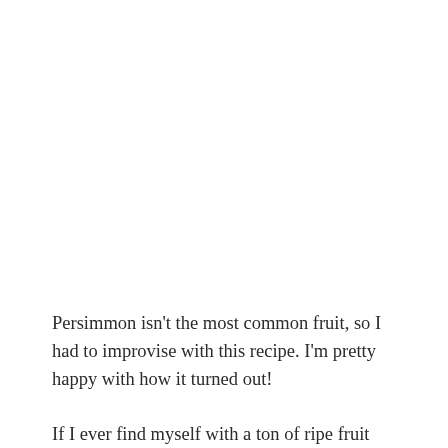Persimmon isn't the most common fruit, so I had to improvise with this recipe. I'm pretty happy with how it turned out!
If I ever find myself with a ton of ripe fruit wondering